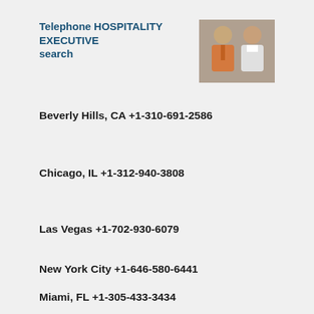Telephone HOSPITALITY EXECUTIVE search
[Figure (photo): Two men in formal/professional attire posing together, one in a suit and one in a white chef's coat]
Beverly Hills, CA +1-310-691-2586
Chicago, IL +1-312-940-3808
Las Vegas +1-702-930-6079
New York City +1-646-580-6441
Miami, FL +1-305-433-3434